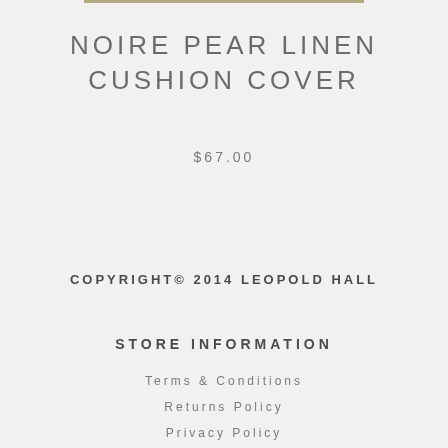NOIRE PEAR LINEN CUSHION COVER
$67.00
COPYRIGHT© 2014 LEOPOLD HALL
STORE INFORMATION
Terms & Conditions
Returns Policy
Privacy Policy